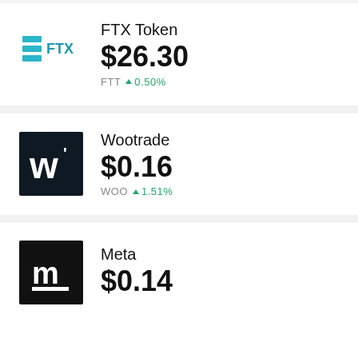FTX Token $26.30 FTT ▲0.50%
Wootrade $0.16 WOO ▲1.51%
Meta $0.14